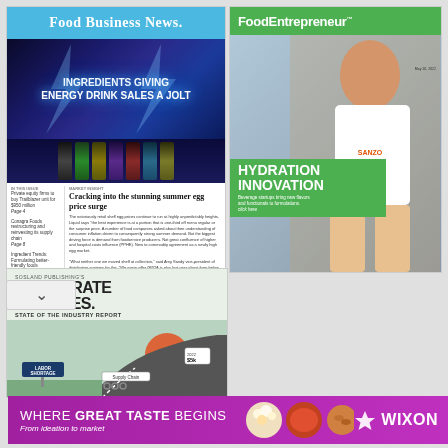[Figure (photo): Food Business News magazine cover featuring energy drink cans with headline 'Ingredients Giving Energy Drink Sales a Jolt' and article 'Cracking into the stunning summer egg price surge']
[Figure (photo): Food Entrepreneur magazine cover featuring a man in a Sanzo shirt holding a green drink can, with headline 'Hydration Innovation - Beverage startups bring new flavors and functionals to formulations']
[Figure (photo): Sosland Publishing's Corporate Profiles - State of the Industry Report cover showing a winding road with Labor Shortage and Supply Chain signs]
[Figure (photo): Wixon advertisement banner reading 'Where Great Taste Begins - From ideation to market' with food photography and Wixon logo]